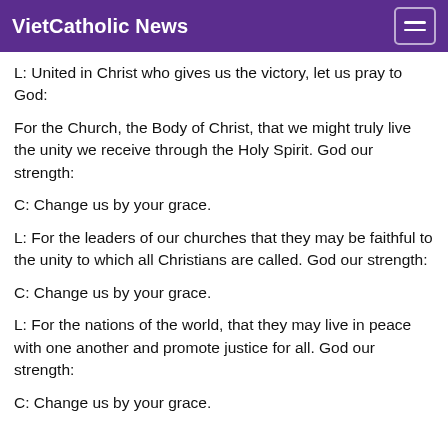VietCatholic News
L: United in Christ who gives us the victory, let us pray to God:
For the Church, the Body of Christ, that we might truly live the unity we receive through the Holy Spirit. God our strength:
C: Change us by your grace.
L: For the leaders of our churches that they may be faithful to the unity to which all Christians are called. God our strength:
C: Change us by your grace.
L: For the nations of the world, that they may live in peace with one another and promote justice for all. God our strength:
C: Change us by your grace.